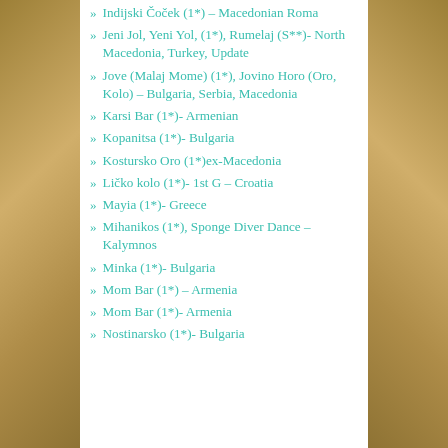Indijski Čoček (1*) – Macedonian Roma
Jeni Jol, Yeni Yol, (1*), Rumelaj (S**)- North Macedonia, Turkey, Update
Jove (Malaj Mome) (1*), Jovino Horo (Oro, Kolo) – Bulgaria, Serbia, Macedonia
Karsi Bar (1*)- Armenian
Kopanitsa (1*)- Bulgaria
Kostursko Oro (1*)ex-Macedonia
Ličko kolo (1*)- 1st G – Croatia
Mayia (1*)- Greece
Mihanikos (1*), Sponge Diver Dance – Kalymnos
Minka (1*)- Bulgaria
Mom Bar (1*) – Armenia
Mom Bar (1*)- Armenia
Nostinarsko (1*)- Bulgaria